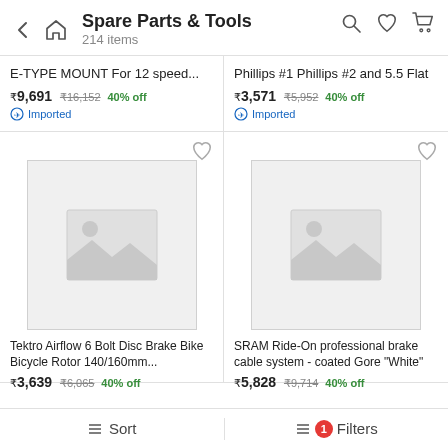Spare Parts & Tools
214 items
E-TYPE MOUNT For 12 speed...
₹9,691 ₹16,152 40% off
Imported
Phillips #1 Phillips #2 and 5.5 Flat
₹3,571 ₹5,952 40% off
Imported
[Figure (photo): Product image placeholder for Tektro Airflow 6 Bolt Disc Brake Bike Bicycle Rotor 140/160mm]
Tektro Airflow 6 Bolt Disc Brake Bike Bicycle Rotor 140/160mm...
₹3,639 ₹6,065 40% off
[Figure (photo): Product image placeholder for SRAM Ride-On professional brake cable system - coated Gore White]
SRAM Ride-On professional brake cable system - coated Gore "White"
₹5,828 ₹9,714 40% off
Sort   Filters